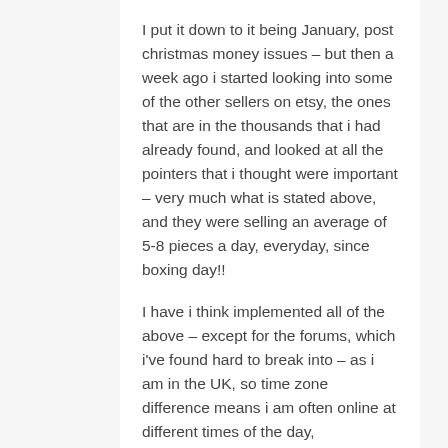I put it down to it being January, post christmas money issues – but then a week ago i started looking into some of the other sellers on etsy, the ones that are in the thousands that i had already found, and looked at all the pointers that i thought were important – very much what is stated above, and they were selling an average of 5-8 pieces a day, everyday, since boxing day!!
I have i think implemented all of the above – except for the forums, which i've found hard to break into – as i am in the UK, so time zone difference means i am often online at different times of the day,